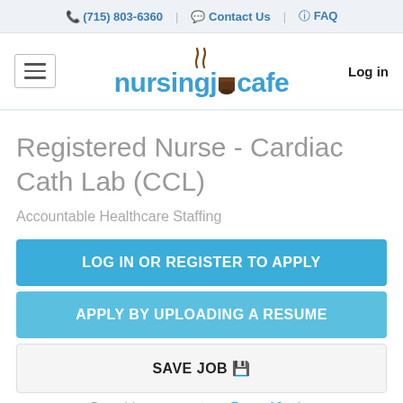(715) 803-6360 | Contact Us | FAQ
[Figure (logo): nursingjobcafe logo with steam rising from a coffee cup replacing the 'o' in job]
Log in
Registered Nurse - Cardiac Cath Lab (CCL)
Accountable Healthcare Staffing
LOG IN OR REGISTER TO APPLY
APPLY BY UPLOADING A RESUME
SAVE JOB
By applying you agree to our Terms of Service